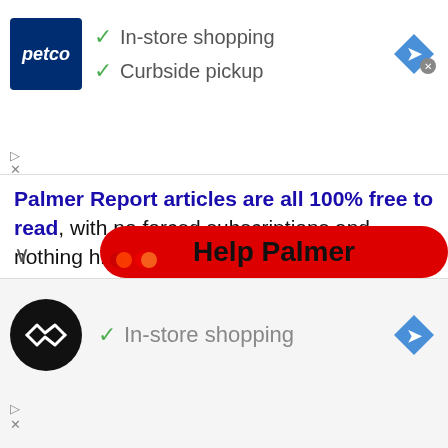[Figure (screenshot): Petco advertisement banner with logo showing In-store shopping and Curbside pickup checkmarks, and a navigation arrow icon]
Palmer Report articles are all 100% free to read, with no forced subscriptions and nothing hidden behind paywalls. If you value our content, you're welcome to pay for it:
Pay $5 to Palmer Report:
[Figure (screenshot): Yellow PayPal Donate button]
[Figure (screenshot): Payment method icons: VISA, Mastercard, Mastercard, American Express, Discover, and another card]
Pay $25 to Palmer Report:
[Figure (screenshot): Yellow PayPal Donate button]
[Figure (screenshot): Red Help Palmer banner overlay]
[Figure (screenshot): Bottom advertisement with circular logo showing In-store shopping checkmark and navigation arrow icon]